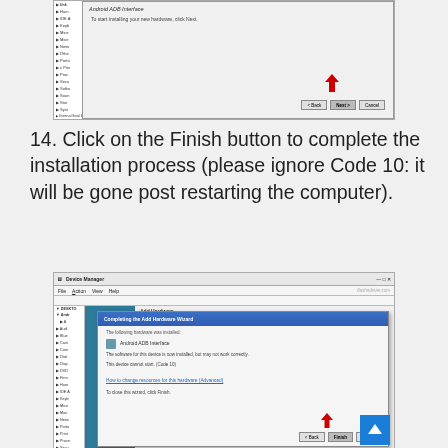[Figure (screenshot): Windows hardware installation wizard dialog showing Android ADB Interface with Next button highlighted by red arrow, alongside Device Manager left panel]
14. Click on the Finish button to complete the installation process (please ignore Code 10: it will be gone post restarting the computer).
[Figure (screenshot): Windows Device Manager with Add Hardware Wizard dialog - Completing the Add Hardware Wizard screen showing Android ADB Interface installed with Code 10 error and Finish button highlighted by red arrow. Watermark: flashndriver.com]